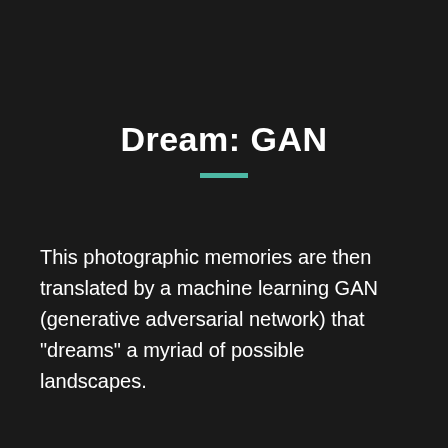Dream: GAN
This photographic memories are then translated by a machine learning GAN (generative adversarial network) that "dreams" a myriad of possible landscapes.